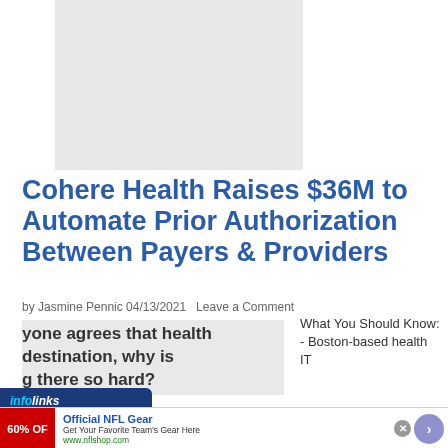[Figure (photo): Gray placeholder image area at top of article]
Cohere Health Raises $36M to Automate Prior Authorization Between Payers & Providers
by Jasmine Pennic 04/13/2021  Leave a Comment
[Figure (photo): Article inline image with watermark/logo overlay]
yone agrees that health destination, why is g there so hard?
What You Should Know: - Boston-based health IT
[Figure (screenshot): infolinks ad bar]
[Figure (screenshot): Advertisement: Official NFL Gear - Get Your Favorite Team's Gear Here - www.nflshop.com - 60% OFF]